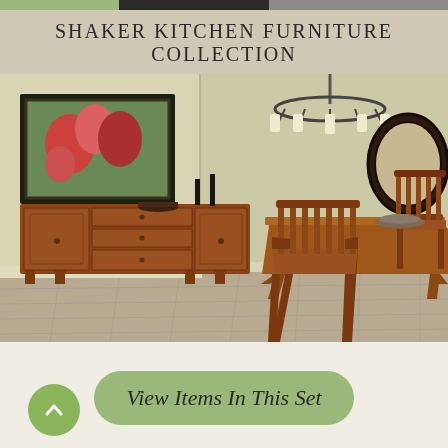SHAKER KITCHEN FURNITURE COLLECTION
[Figure (photo): A dining room scene featuring Shaker-style kitchen furniture: a wooden sideboard/buffet with drawers and cabinet doors, two dining chairs with slatted backs, a rectangular dining table, set against a pale yellow wall with a framed floral painting, a chandelier, and a round mirror.]
View Items In This Set